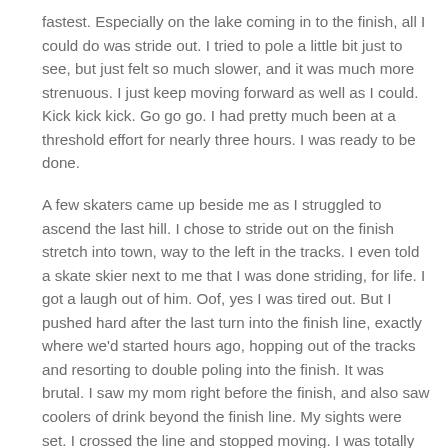fastest. Especially on the lake coming in to the finish, all I could do was stride out. I tried to pole a little bit just to see, but just felt so much slower, and it was much more strenuous. I just keep moving forward as well as I could. Kick kick kick. Go go go. I had pretty much been at a threshold effort for nearly three hours. I was ready to be done.
A few skaters came up beside me as I struggled to ascend the last hill. I chose to stride out on the finish stretch into town, way to the left in the tracks. I even told a skate skier next to me that I was done striding, for life. I got a laugh out of him. Oof, yes I was tired out. But I pushed hard after the last turn into the finish line, exactly where we'd started hours ago, hopping out of the tracks and resorting to double poling into the finish. It was brutal. I saw my mom right before the finish, and also saw coolers of drink beyond the finish line. My sights were set. I crossed the line and stopped moving. I was totally beat. Oof is right. I kind of slinked to the ground as my mom caught up me and started talking to me from the sidelines. I couldn't really hear, I just had to unclip my skiw. My body was almost tremoring from the difficult and sustained effort. That was a shock to the system. I eventually stood up, took my ski poles off and tried to collect my skis and stuff. I felt like my biceps were about to